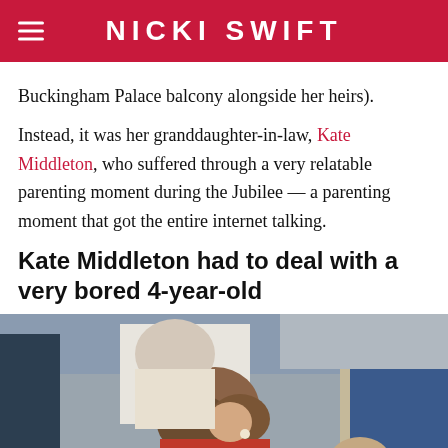NICKI SWIFT
Buckingham Palace balcony alongside her heirs).
Instead, it was her granddaughter-in-law, Kate Middleton, who suffered through a very relatable parenting moment during the Jubilee — a parenting moment that got the entire internet talking.
Kate Middleton had to deal with a very bored 4-year-old
[Figure (photo): Photo of Kate Middleton bending down toward a young child, seated at what appears to be a public event. Kate is wearing a bright pink/red outfit and has long brown hair. Other people are visible in the background.]